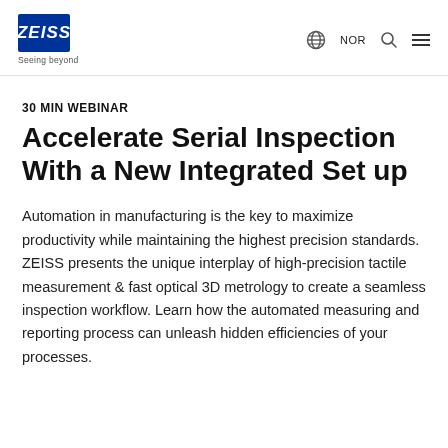ZEISS | Seeing beyond | NOR
30 MIN WEBINAR
Accelerate Serial Inspection With a New Integrated Set up
Automation in manufacturing is the key to maximize productivity while maintaining the highest precision standards. ZEISS presents the unique interplay of high-precision tactile measurement & fast optical 3D metrology to create a seamless inspection workflow. Learn how the automated measuring and reporting process can unleash hidden efficiencies of your processes.